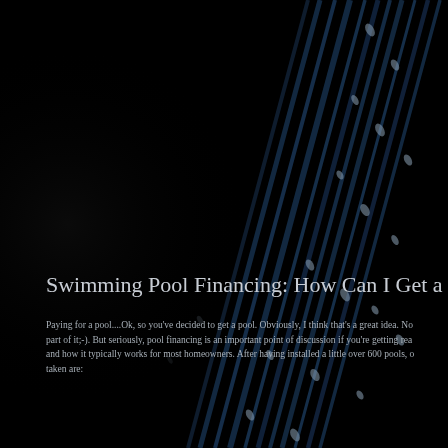[Figure (photo): Dark background with diagonal streaks of blue light and small oval/teardrop shaped light reflections, resembling water or a swimming pool at night]
Swimming Pool Financing: How Can I Get a
Paying for a pool....Ok, so you've decided to get a pool. Obviously, I think that's a great idea. No part of it;-). But seriously, pool financing is an important point of discussion if you're getting rea and how it typically works for most homeowners. After having installed a little over 600 pools, o taken are: